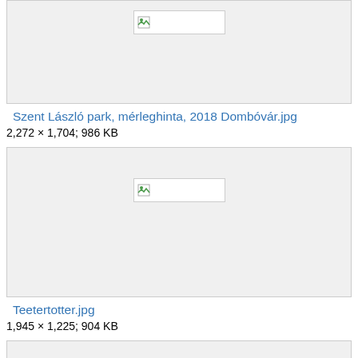[Figure (photo): Thumbnail placeholder for Szent László park image, broken image icon visible]
Szent László park, mérleghinta, 2018 Dombóvár.jpg
2,272 × 1,704; 986 KB
[Figure (photo): Thumbnail placeholder for Teetertotter image, broken image icon visible]
Teetertotter.jpg
1,945 × 1,225; 904 KB
[Figure (photo): Partial thumbnail box at bottom of page]